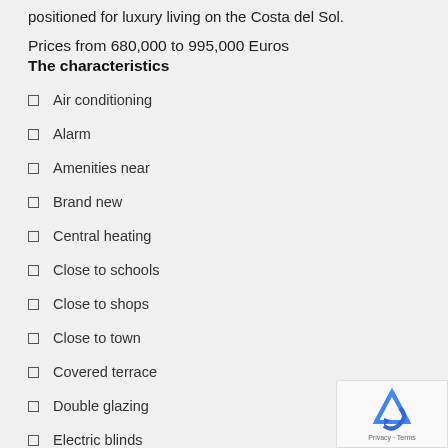positioned for luxury living on the Costa del Sol.
Prices from 680,000 to 995,000 Euros
The characteristics
Air conditioning
Alarm
Amenities near
Brand new
Central heating
Close to schools
Close to shops
Close to town
Covered terrace
Double glazing
Electric blinds